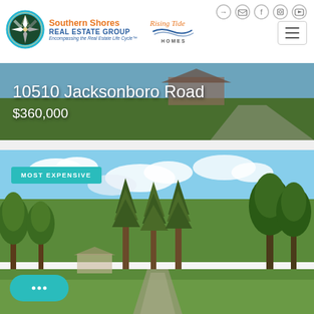[Figure (logo): Southern Shores Real Estate Group logo with compass rose in teal circle, orange and blue text]
[Figure (logo): Rising Tide Homes logo with italic script text and wave graphic]
10510 Jacksonboro Road
$360,000
[Figure (photo): Aerial/front view of property showing green lawn, trees, driveway with Most Expensive badge overlay]